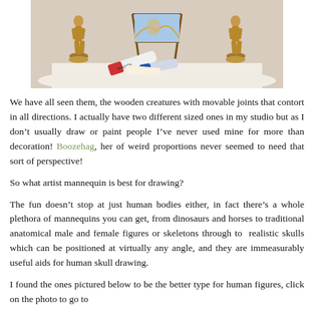[Figure (photo): Photo of two wooden artist mannequins flanking a small easel with a painting, and artist paint tubes (Golden brand) in front, on a white surface.]
We have all seen them, the wooden creatures with movable joints that contort in all directions. I actually have two different sized ones in my studio but as I don't usually draw or paint people I've never used mine for more than decoration! Boozehag, her of weird proportions never seemed to need that sort of perspective!
So what artist mannequin is best for drawing?
The fun doesn't stop at just human bodies either, in fact there's a whole plethora of mannequins you can get, from dinosaurs and horses to traditional anatomical male and female figures or skeletons through to  realistic skulls which can be positioned at virtually any angle, and they are immeasurably useful aids for human skull drawing.
I found the ones pictured below to be the better type for human figures, click on the photo to go to